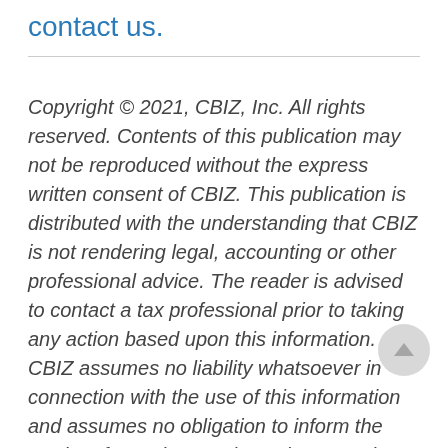contact us.
Copyright © 2021, CBIZ, Inc. All rights reserved. Contents of this publication may not be reproduced without the express written consent of CBIZ. This publication is distributed with the understanding that CBIZ is not rendering legal, accounting or other professional advice. The reader is advised to contact a tax professional prior to taking any action based upon this information. CBIZ assumes no liability whatsoever in connection with the use of this information and assumes no obligation to inform the reader of any changes in tax laws or other factors that could affect the information contained herein.